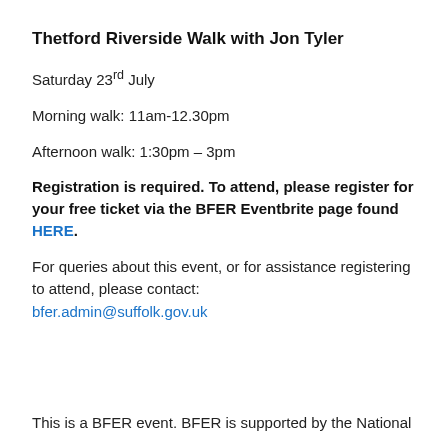Thetford Riverside Walk with Jon Tyler
Saturday 23rd July
Morning walk: 11am-12.30pm
Afternoon walk: 1:30pm – 3pm
Registration is required. To attend, please register for your free ticket via the BFER Eventbrite page found HERE.
For queries about this event, or for assistance registering to attend, please contact: bfer.admin@suffolk.gov.uk
This is a BFER event. BFER is supported by the National